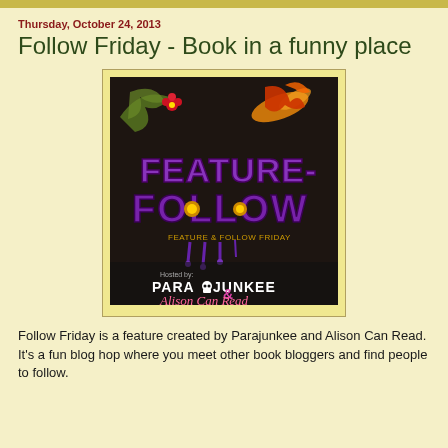Thursday, October 24, 2013
Follow Friday - Book in a funny place
[Figure (illustration): Feature & Follow Friday promotional image with decorative fantasy art. Dark background with ornate floral/swirl designs. Large purple text reads 'FEATURE-FOLLOW' with 'FEATURE & FOLLOW FRIDAY' beneath. Bottom section shows 'Hosted by: PARAJUNKEE & Alison Can Read' logos.]
Follow Friday is a feature created by Parajunkee and Alison Can Read.  It's a fun blog hop where you meet other book bloggers and find people to follow.